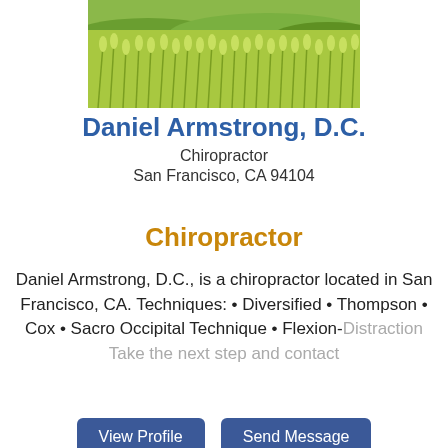[Figure (photo): Wheat field with green stalks of wheat, top cropped image]
Daniel Armstrong, D.C.
Chiropractor
San Francisco, CA 94104
Chiropractor
Daniel Armstrong, D.C., is a chiropractor located in San Francisco, CA. Techniques: • Diversified • Thompson • Cox • Sacro Occipital Technique • Flexion-Distraction Take the next step and contact
[Figure (other): View Profile and Send Message buttons]
[Figure (photo): Large green tree with blue sky background, bottom partially cropped image]